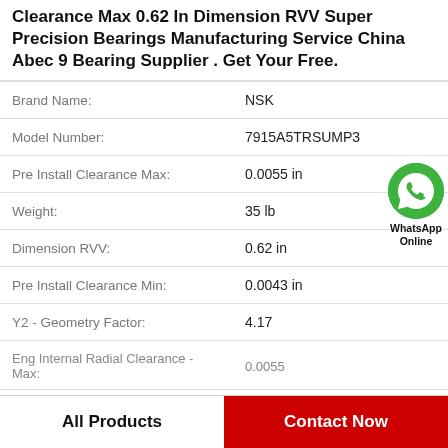Clearance Max 0.62 In Dimension RVV Super Precision Bearings Manufacturing Service China Abec 9 Bearing Supplier . Get Your Free.
| Property | Value |
| --- | --- |
| Brand Name: | NSK |
| Model Number: | 7915A5TRSUMP3 |
| Pre Install Clearance Max: | 0.0055 in |
| Weight: | 35 lb |
| Dimension RVV: | 0.62 in |
| Pre Install Clearance Min: | 0.0043 in |
| Y2 - Geometry Factor: | 4.17 |
| Eng Internal Radial Clearance - Max: | 0.0055 |
[Figure (logo): WhatsApp Online green circle icon with phone handset, labeled WhatsApp Online]
All Products
Contact Now